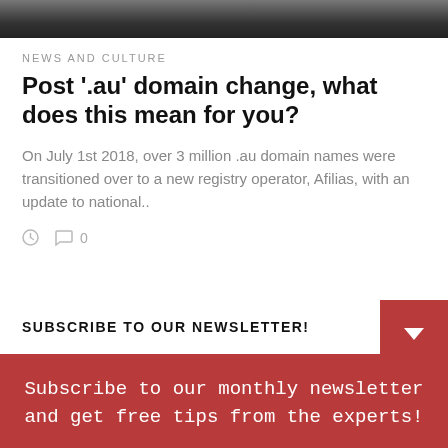[Figure (photo): Dark photo strip at top of page, partially visible]
NEWS AND CULTURE
Post '.au' domain change, what does this mean for you?
On July 1st 2018, over 3 million .au domain names were transitioned over to a new registry operator, Afilias, with an update to national..
0 comments
SUBSCRIBE TO OUR NEWSLETTER!
Subscribe to our monthly newsletter and get free tips from the experts!
Your email address..
Subscribe